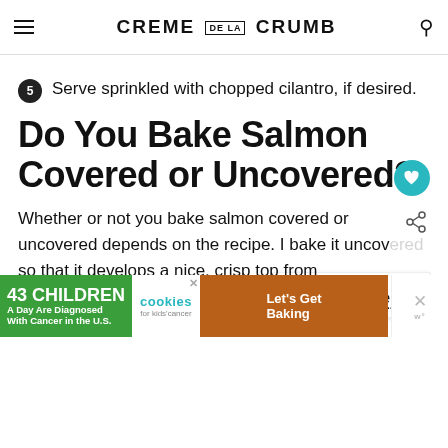CREME DE LA CRUMB
5 Serve sprinkled with chopped cilantro, if desired.
Do You Bake Salmon Covered or Uncovered?
Whether or not you bake salmon covered or uncovered depends on the recipe. I bake it uncovered so that it develops a nice, crisp top from broiling. If you close it up in foil, it will steam rather than bake.
[Figure (infographic): Advertisement banner: 43 Children A Day Are Diagnosed With Cancer in the U.S. — cookies for kids cancer — Let's Get Baking]